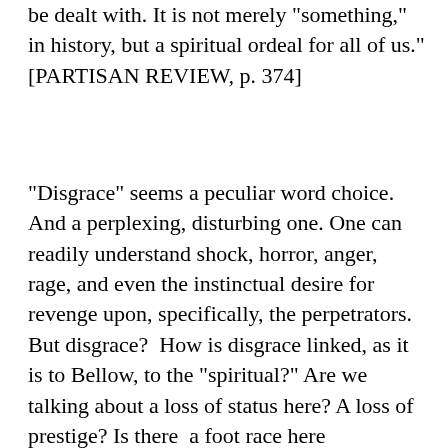be dealt with. It is not merely "something," in history, but a spiritual ordeal for all of us." [PARTISAN REVIEW, p. 374]
"Disgrace" seems a peculiar word choice. And a perplexing, disturbing one. One can readily understand shock, horror, anger, rage, and even the instinctual desire for revenge upon, specifically, the perpetrators. But disgrace?  How is disgrace linked, as it is to Bellow, to the "spiritual?" Are we talking about a loss of status here? A loss of prestige? Is there  a foot race here somewhere? A degradation of communal honor?  Apparently falling into a horrible abyss from the commonality of man is not as great a fall as the drop from "grace," from chosenness. The label of disgrace is supposed to originate in the subject's own action or inaction, isn't it? Did Bellow think